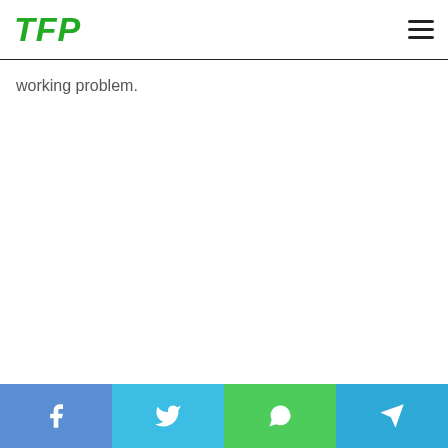TFP
working problem.
Share buttons: Facebook, Twitter, WhatsApp, Telegram